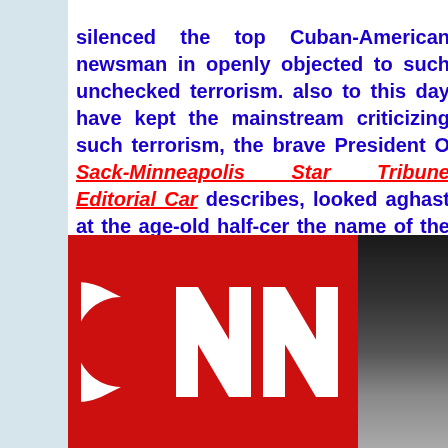silenced the top Cuban-American newsman in openly objected to such unchecked terrorism. also to this day have kept the mainstream criticizing such terrorism, the brave President O Sack-Minneapolis Star Tribune Editorial Car describes, looked aghast at the age-old half-cer the name of the UNITED STATES OF AMERICA!!!
[Figure (logo): CNN logo on red background alongside a partial photo of a person with light hair on dark background]